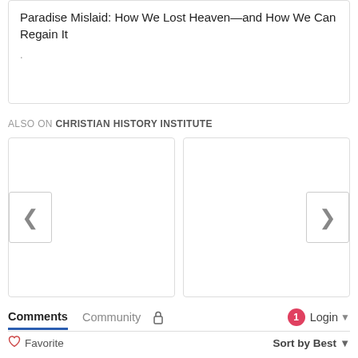Paradise Mislaid: How We Lost Heaven—and How We Can Regain It
.
ALSO ON CHRISTIAN HISTORY INSTITUTE
[Figure (screenshot): Carousel with two image card slots, a left chevron button on the left card and a right chevron button on the right card]
Comments  Community  🔒  1  Login ▾
♡ Favorite   Sort by Best ▾